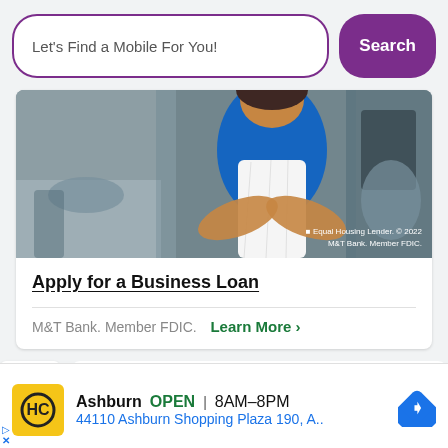Let's Find a Mobile For You!
Search
[Figure (photo): Woman in blue shirt and white apron with arms crossed standing in a kitchen setting. Equal Housing Lender © 2022 M&T Bank. Member FDIC.]
Apply for a Business Loan
M&T Bank. Member FDIC. Learn More >
[Figure (photo): Partial view of a white smartphone from above]
Ashburn OPEN | 8AM–8PM 44110 Ashburn Shopping Plaza 190, A..